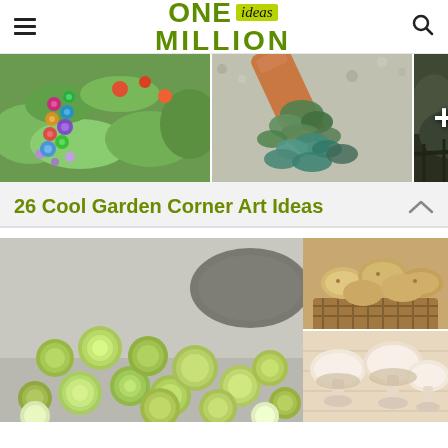ONE ideas MILLION
[Figure (photo): Three garden photos: colorful marbles/balls in a flower garden, a terracotta pot with succulents spilling out, and a partially visible garden scene with +2 overlay badge.]
26 Cool Garden Corner Art Ideas
[Figure (photo): Brussels sprouts scattered on a grey surface with a bowl, alongside two smaller photos of potatoes in a basket and white mushrooms.]